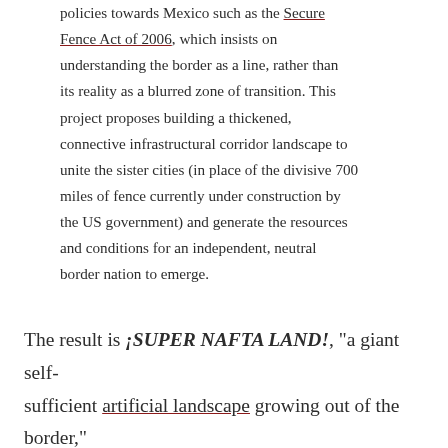policies towards Mexico such as the Secure Fence Act of 2006, which insists on understanding the border as a line, rather than its reality as a blurred zone of transition. This project proposes building a thickened, connective infrastructural corridor landscape to unite the sister cities (in place of the divisive 700 miles of fence currently under construction by the US government) and generate the resources and conditions for an independent, neutral border nation to emerge.
The result is ¡SUPER NAFTA LAND!, "a giant self-sufficient artificial landscape growing out of the border," its infrastructure consisting of "a modular system of production pods to generate enough food, water, and